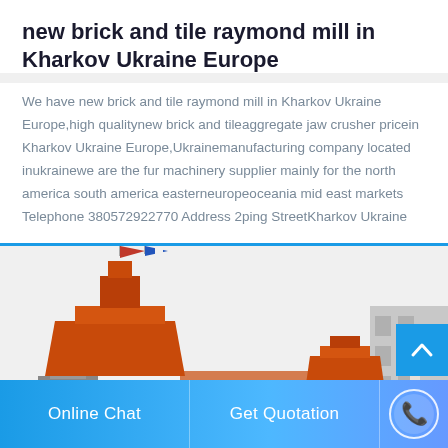new brick and tile raymond mill in Kharkov Ukraine Europe
We have new brick and tile raymond mill in Kharkov Ukraine Europe,high qualitynew brick and tileaggregate jaw crusher pricein Kharkov Ukraine Europe,Ukrainemanufacturing company located inukrainewe are the fur machinery supplier mainly for the north america south america easterneuropeoceania mid east markets Telephone 380572922770 Address 2ping StreetKharkov Ukraine
[Figure (photo): Industrial machinery - orange/red raymond mill equipment with flags on top, photographed outdoors against a white sky with a building visible on the right side]
Online Chat | Get Quotation